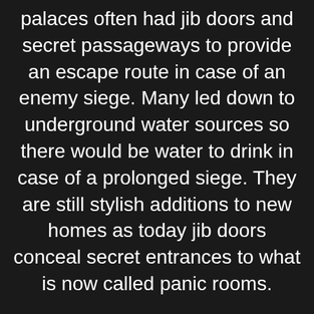palaces often had jib doors and secret passageways to provide an escape route in case of an enemy siege. Many led down to underground water sources so there would be water to drink in case of a prolonged siege. They are still stylish additions to new homes as today jib doors conceal secret entrances to what is now called panic rooms.

A jib or secret door should be nearly invisible, hardly recognized as a door as one walks past. It is usually disguised by having the same moldings or wall treatment as the